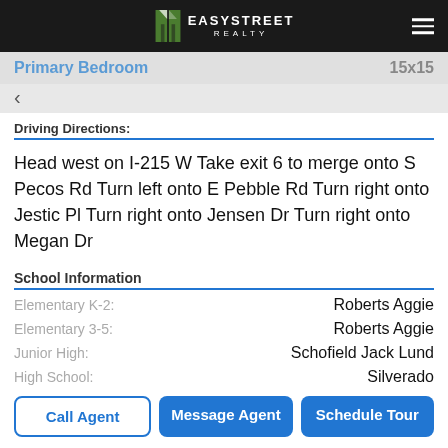EasyStreet Realty
Primary Bedroom   15x15
Driving Directions:
Head west on I-215 W Take exit 6 to merge onto S Pecos Rd Turn left onto E Pebble Rd Turn right onto Jestic Pl Turn right onto Jensen Dr Turn right onto Megan Dr
School Information
Elementary K-2:   Roberts Aggie
Elementary 3-5:   Roberts Aggie
Junior High:   Schofield Jack Lund
High School:   Silverado
Call Agent   Message Agent   Schedule Tour
MLS# 2393649